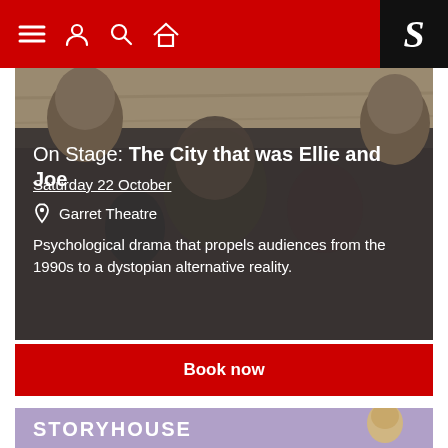Navigation bar with menu, user, search, home icons and S logo
On Stage: The City that was Ellie and Joe
Saturday 22 October
Garret Theatre
Psychological drama that propels audiences from the 1990s to a dystopian alternative reality.
Book now
[Figure (logo): STORYHOUSE logo on purple/lavender background with a woman playing trumpet on the right side]